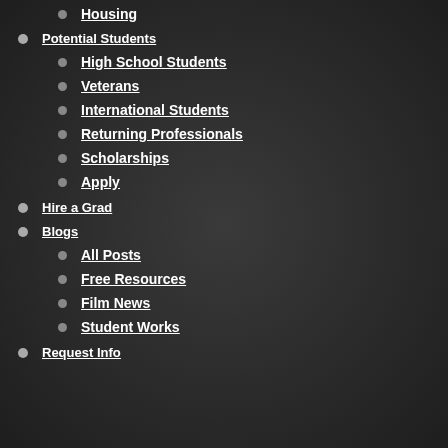Housing
Potential Students
High School Students
Veterans
International Students
Returning Professionals
Scholarships
Apply
Hire a Grad
Blogs
All Posts
Free Resources
Film News
Student Works
Request Info